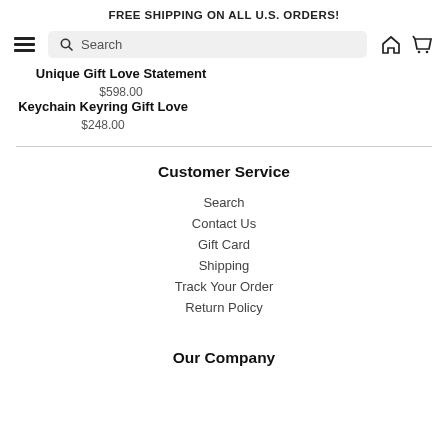FREE SHIPPING ON ALL U.S. ORDERS!
[Figure (screenshot): Navigation bar with hamburger menu icon, search box, home icon, and cart icon]
Unique Gift Love Statement
$598.00
Keychain Keyring Gift Love
$248.00
Customer Service
Search
Contact Us
Gift Card
Shipping
Track Your Order
Return Policy
Our Company